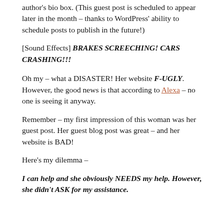author's bio box. (This guest post is scheduled to appear later in the month – thanks to WordPress' ability to schedule posts to publish in the future!)
[Sound Effects] BRAKES SCREECHING!  CARS CRASHING!!!
Oh my – what a DISASTER!  Her website F-UGLY.  However, the good news is that according to Alexa – no one is seeing it anyway.
Remember – my first impression of this woman was her guest post.  Her guest blog post was great – and her website is BAD!
Here's my dilemma –
I can help and she obviously NEEDS my help.  However, she didn't ASK for my assistance.